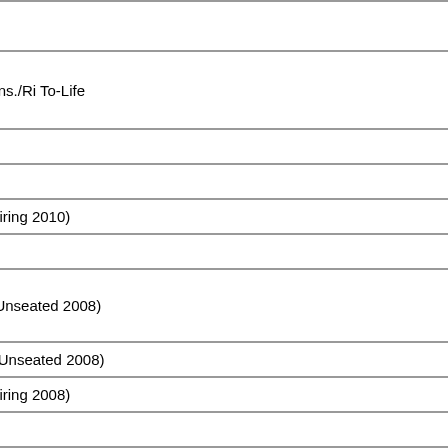| Name | Vote | Party/State |
| --- | --- | --- |
| Jim Jordan | NO | Ohio Republican |
| Peter King | NO | New York Rep./Ind./Cons./Ri To-Life |
| Steve King | NO | Iowa Republican |
| Jack Kingston | NO | Georgia Republican |
| Mark Kirk | YES | Illinois Republican (Retiring 2010) |
| John Kline | NO | Minnesota Republican |
| Joe Knollenberg | NO | Michigan Republican (Unseated 2008) |
| Randy Kuhl | NO | New York Republican (Unseated 2008) |
| Ray LaHood | YES | Illinois Republican (Retiring 2008) |
| Doug Lamborn | NO | Colorado Republican |
| Tom Latham | NO | Iowa Republican |
| Steven LaTourette | NO | Ohio Republican |